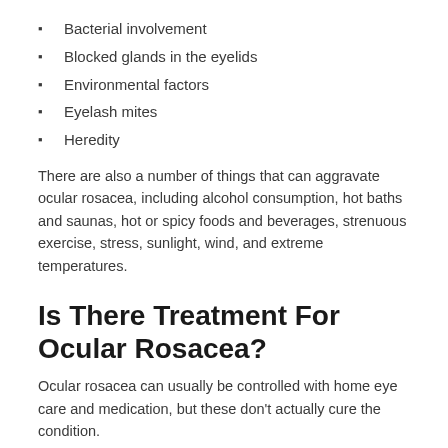Bacterial involvement
Blocked glands in the eyelids
Environmental factors
Eyelash mites
Heredity
There are also a number of things that can aggravate ocular rosacea, including alcohol consumption, hot baths and saunas, hot or spicy foods and beverages, strenuous exercise, stress, sunlight, wind, and extreme temperatures.
Is There Treatment For Ocular Rosacea?
Ocular rosacea can usually be controlled with home eye care and medication, but these don't actually cure the condition.
Treatment may include applying a warm moist compress to your eyelids. Your eye doctor might recommend antibiotics, prescribe